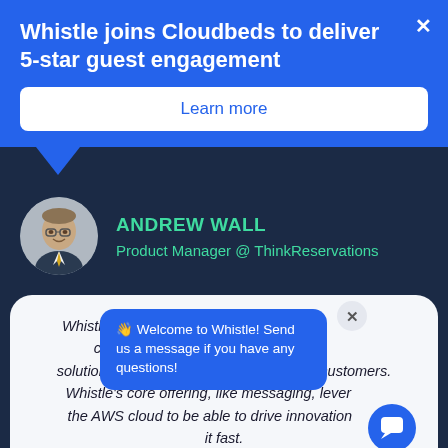Whistle joins Cloudbeds to deliver 5-star guest engagement
Learn more
ANDREW WALL
Product Manager @ ThinkReservations
Whistle successfully built a product that customers care about and continually improves that solution by learning from and listening to customers. Whistle's core offering, like messaging, leverages the AWS cloud to be able to drive innovation and do it fast.
👋 Welcome to Whistle! Send us a message if you have any questions!